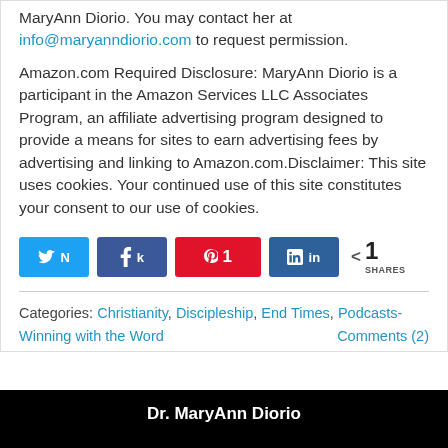MaryAnn Diorio. You may contact her at info@maryanndiorio.com to request permission.
Amazon.com Required Disclosure: MaryAnn Diorio is a participant in the Amazon Services LLC Associates Program, an affiliate advertising program designed to provide a means for sites to earn advertising fees by advertising and linking to Amazon.com.Disclaimer: This site uses cookies. Your continued use of this site constitutes your consent to our use of cookies.
[Figure (infographic): Social share buttons: Twitter, Facebook (k), Pinterest with count 1, LinkedIn, and share count showing 1 SHARES]
Categories: Christianity, Discipleship, End Times, Podcasts-Winning with the Word    Comments (2)
Dr. MaryAnn Diorio